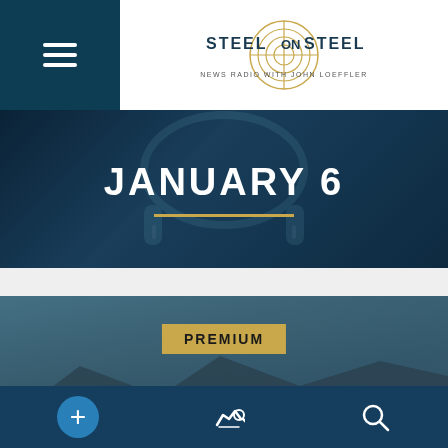[Figure (logo): Steel on Steel - News Radio with John Loeffler logo with target/crosshair graphic]
JANUARY 6
[Figure (photo): Aerial cityscape photo of what appears to be Coeur d'Alene, Idaho with mountains in background]
PREMIUM
WILLIAM JASPER: DID AGENTS PROVOCATEURS COME TO IDAHO?
BROADCAST RUNNING TIME: